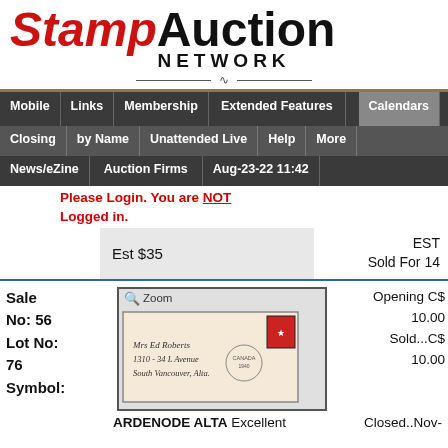StampAuction NETWORK
Mobile | Links | Membership | Extended Features | Calendars | Closing | by Name | Unattended Live | Help | More | News/eZine | Auction Firms | Aug-23-22 11:42
Please Login. You are NOT Logged in.
Est $35   EST Sold For 14
Sale No: 56  Lot No: 76  Symbol:
[Figure (photo): Envelope with stamp image and handwritten address, with Zoom label]
Opening C$ 10.00  Sold...C$ 10.00
ARDENODE ALTA Excellent  Closed..Nov-